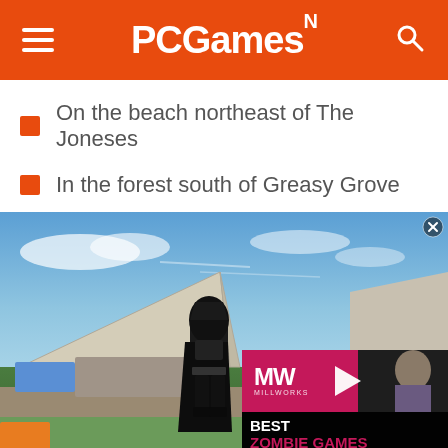PCGamesN
On the beach northeast of The Joneses
In the forest south of Greasy Grove
[Figure (screenshot): Fortnite game screenshot showing Darth Vader character standing near a large vehicle/ship structure with blue sky background. An embedded video thumbnail overlay shows 'BEST ZOMBIE GAMES' text with a play button on a pink/magenta background with MW logo.]